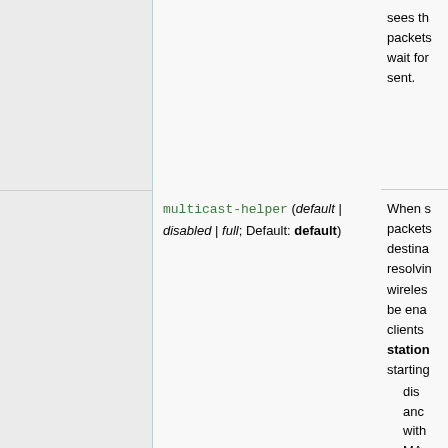|  | Parameter | Description |
| --- | --- | --- |
|  |  | sees th packets wait for sent. |
|  | multicast-helper (default | disabled | full; Default: default) | When s packets destina resolvin wireles be ena clients station- starting
• disa and with MA
• full add uni- sen
• def |